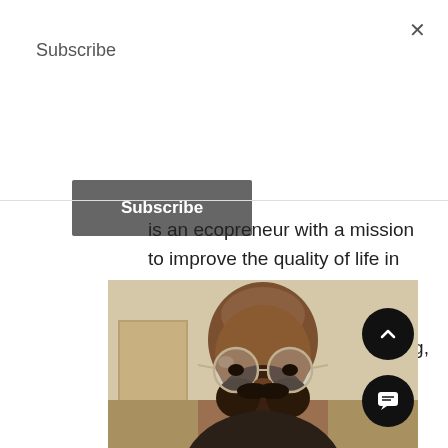×
Subscribe
Subscribe
is an ecopreneur with a mission to improve the quality of life in developing parts of the globe through sustainable and eco-friendly architecture, engineering, and technology.
[Figure (photo): Portrait photo of a bald man with a beard wearing round wire-frame glasses, shown from the forehead to nose area, with navigation buttons (up arrow and chat) overlaid on the right side]